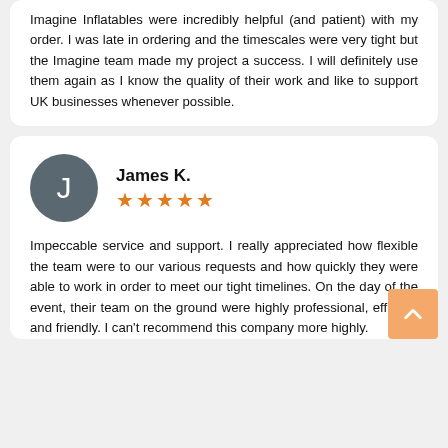Imagine Inflatables were incredibly helpful (and patient) with my order. I was late in ordering and the timescales were very tight but the Imagine team made my project a success. I will definitely use them again as I know the quality of their work and like to support UK businesses whenever possible.
James K.
[Figure (other): Reviewer avatar circle with letter J and 5 orange stars rating for James K.]
Impeccable service and support. I really appreciated how flexible the team were to our various requests and how quickly they were able to work in order to meet our tight timelines. On the day of the event, their team on the ground were highly professional, efficient and friendly. I can't recommend this company more highly.